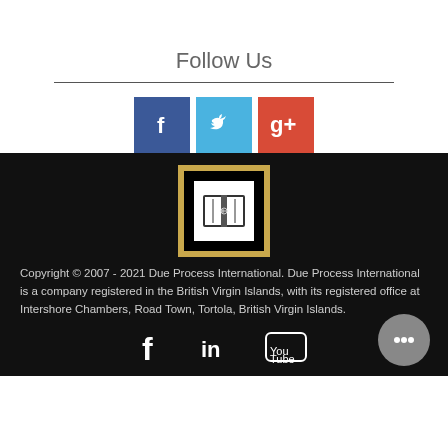Follow Us
[Figure (illustration): Social media icons: Facebook (blue), Twitter (light blue), Google+ (red/orange)]
[Figure (logo): Due Process International logo — book icon in white square, black frame, gold outer border]
Copyright © 2007 - 2021 Due Process International. Due Process International is a company registered in the British Virgin Islands, with its registered office at Intershore Chambers, Road Town, Tortola, British Virgin Islands.
[Figure (illustration): Social media icons at bottom: Facebook, LinkedIn, YouTube]